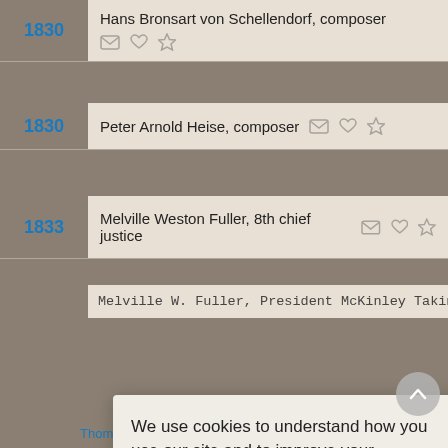1830 Hans Bronsart von Schellendorf, composer
1830 Peter Arnold Heise, composer
1833 Melville Weston Fuller, 8th chief justice
Melville W. Fuller, President McKinley Taking the Oath
We use cookies to understand how you use our site and to improve your experience. This includes personalizing content for you and for the display and tracking of advertising. By continuing to use our site, you accept and agree to our use of cookies.  Privacy Policy
Got it!
Thomas Alva Edison, Milan, Ohio, lit up your life (bold)